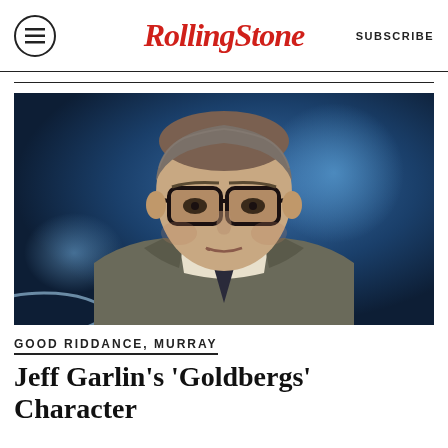RollingStone  SUBSCRIBE
[Figure (photo): Headshot of Jeff Garlin wearing black thick-framed glasses, grey suit jacket, white dress shirt, and dark striped tie, against a blurred blue background]
GOOD RIDDANCE, MURRAY
Jeff Garlin's 'Goldbergs' Character